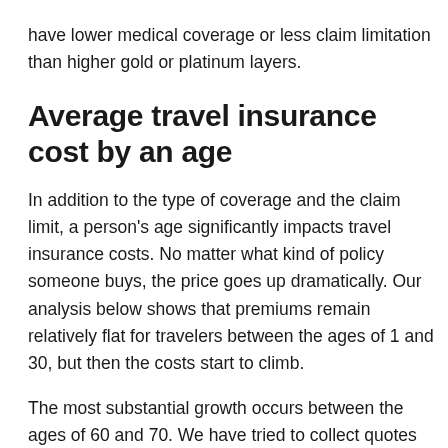have lower medical coverage or less claim limitation than higher gold or platinum layers.
Average travel insurance cost by an age
In addition to the type of coverage and the claim limit, a person's age significantly impacts travel insurance costs. No matter what kind of policy someone buys, the price goes up dramatically. Our analysis below shows that premiums remain relatively flat for travelers between the ages of 1 and 30, but then the costs start to climb.
The most substantial growth occurs between the ages of 60 and 70. We have tried to collect quotes for travelers aged 100, 105, and 110, but no organization has provided quotes